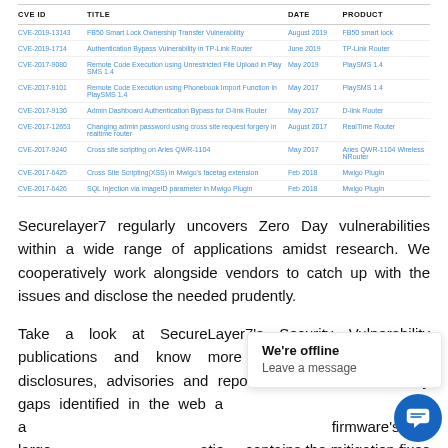| CVE ID | TITLE | DATE | PRODUCT |
| --- | --- | --- | --- |
| CVE-2019-13143 | FB50 Smart Lock Ownership Transfer Vulnerability | August 2019 | FB50 smart lock |
| CVE-2019-1714 | Authentication Bypass Vulnerability in TP-Link Router | June 2019 | TP-Link Router |
| CVE-2017-9080 | Remote Code Execution using Unrestricted File Upload in Play SMS 1.4 | May 2019 | PlaySMS 1.4 |
| CVE-2017-9101 | Remote Code Execution using Phonebook Import Function in PlaySMS 1.4 | May 2017 | PlaySMS 1.4 |
| CVE-2017-9130 | Admin Dashboard Authentication Bypass for D-link Router | May 2017 | D-link Router |
| CVE-2017-12653 | Changing admin password using cross site request forgery in realtime router | August 2017 | RealTime Router |
| CVE-2017-9240 | Cross site scripting on Aries QWR-1104 | May 2017 | Aries QWR-1104 Wireless NRouter |
| CVE-2017-6425 | Cross Site Scripting(XSS) in Mwigo's facetag extension | Feb 2018 | Mwigo Plugin |
| CVE-2017-6426 | SQL Injection via imageID parameter in Mwigo Plugin | Feb 2018 | Mwigo Plugin |
Securelayer7 regularly uncovers Zero Day vulnerabilities within a wide range of applications amidst research. We cooperatively work alongside vendors to catch up with the issues and disclose the needed prudently.
Take a look at SecureLayer7's Security Vulnerability publications and know more about the vulnerability disclosures, advisories and reports. It details the security gaps identified in the web a... re a... firmware's of large ...atio... contains the mitigation fixes for the vulnerabilities, their